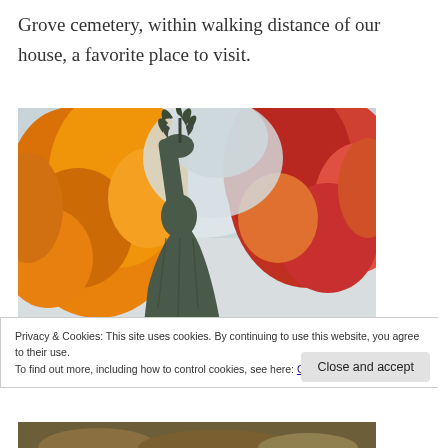Grove cemetery, within walking distance of our house, a favorite place to visit.
[Figure (photo): A cemetery statue hand holding a palm branch or olive branch aloft, surrounded by autumn trees with orange and red foliage against a bright sky.]
Privacy & Cookies: This site uses cookies. By continuing to use this website, you agree to their use.
To find out more, including how to control cookies, see here: Cookie Policy
Close and accept